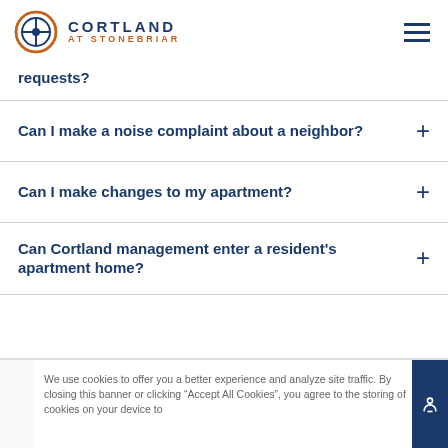Cortland at Stonebriar
requests?
Can I make a noise complaint about a neighbor?
Can I make changes to my apartment?
Can Cortland management enter a resident's apartment home?
We use cookies to offer you a better experience and analyze site traffic. By closing this banner or clicking "Accept All Cookies", you agree to the storing of cookies on your device to